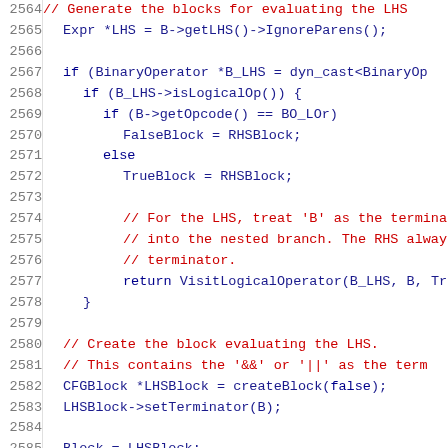Source code listing lines 2564-2585, C++ code for generating blocks for evaluating the LHS of a logical operator